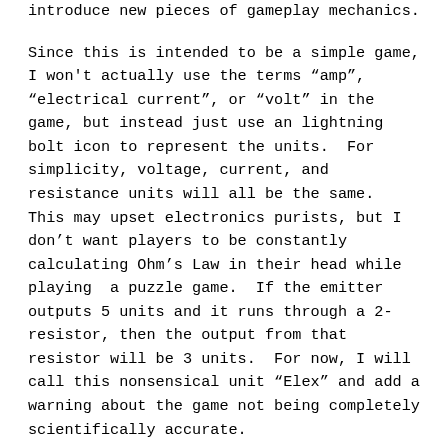introduce new pieces of gameplay mechanics.
Since this is intended to be a simple game, I won't actually use the terms “amp”, “electrical current”, or “volt” in the game, but instead just use an lightning bolt icon to represent the units.  For simplicity, voltage, current, and resistance units will all be the same.  This may upset electronics purists, but I don’t want players to be constantly calculating Ohm’s Law in their head while playing  a puzzle game.  If the emitter outputs 5 units and it runs through a 2-resistor, then the output from that resistor will be 3 units.  For now, I will call this nonsensical unit “Elex” and add a warning about the game not being completely scientifically accurate.
Level 1 will start out easy using the lowest resistors, 1 through 3, and only I and L wires.   Later Level 1 stages will have the Elex increased from the power source, and the maximum values for the lights will be increased.